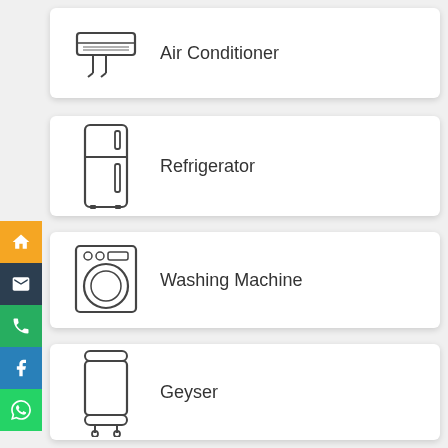[Figure (illustration): Air conditioner unit icon (split AC with drip lines)]
Air Conditioner
[Figure (illustration): Refrigerator icon (two-door fridge)]
Refrigerator
[Figure (illustration): Washing machine icon (front-load with porthole)]
Washing Machine
[Figure (illustration): Geyser / water heater icon]
Geyser